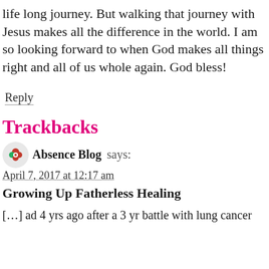life long journey. But walking that journey with Jesus makes all the difference in the world. I am so looking forward to when God makes all things right and all of us whole again. God bless!
Reply
Trackbacks
Absence Blog says:
April 7, 2017 at 12:17 am
Growing Up Fatherless Healing
[…] ad 4 yrs ago after a 3 yr battle with lung cancer